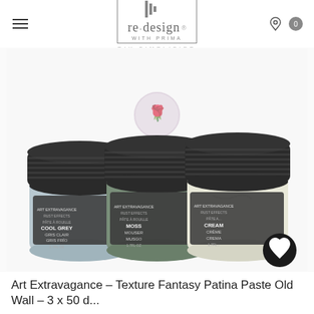re·design WITH PRIMA DIY SIMPLIFIED
[Figure (photo): Three small paint/texture paste jars with dark lids: Cool Grey (light blue), Moss (green), and Cream (off-white), from the Re·Design with Prima Art Extravagance line. A faded Prima watermark logo appears above the jars. A dark circular wishlist/heart button is visible in the lower right of the image.]
Art Extravagance – Texture Fantasy Patina Paste Old Wall – 3 x 50 d...